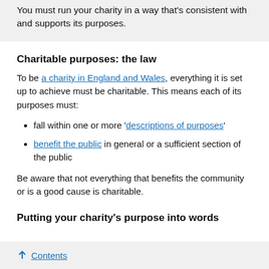You must run your charity in a way that's consistent with and supports its purposes.
Charitable purposes: the law
To be a charity in England and Wales, everything it is set up to achieve must be charitable. This means each of its purposes must:
fall within one or more 'descriptions of purposes'
benefit the public in general or a sufficient section of the public
Be aware that not everything that benefits the community or is a good cause is charitable.
Putting your charity's purpose into words
↑ Contents